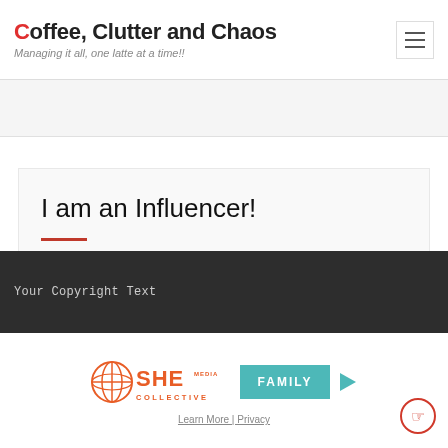Coffee, Clutter and Chaos — Managing it all, one latte at a time!!
I am an Influencer!
Your Copyright Text
[Figure (logo): SHE Media Collective FAMILY advertisement banner with play button and circular hand icon]